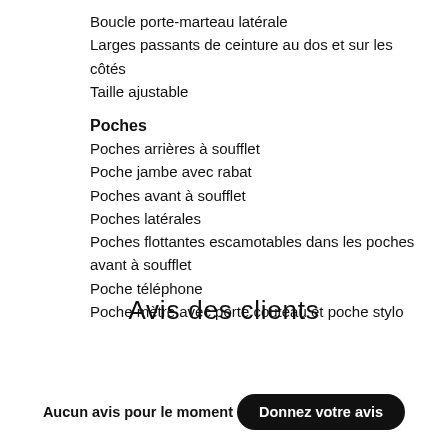Boucle porte-marteau latérale
Larges passants de ceinture au dos et sur les côtés
Taille ajustable
Poches
Poches arrières à soufflet
Poche jambe avec rabat
Poches avant à soufflet
Poches latérales
Poches flottantes escamotables dans les poches avant à soufflet
Poche téléphone
Poche mètre avec porte couteau et poche stylo
Avis des clients
Aucun avis pour le moment
Donnez votre avis